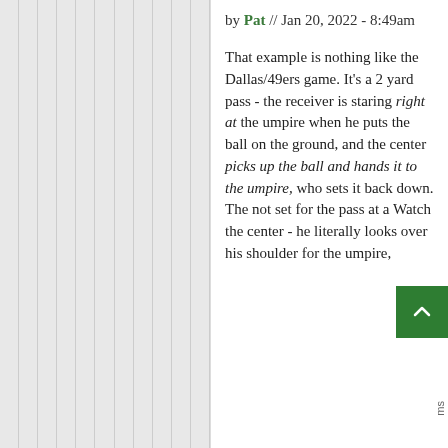by Pat // Jan 20, 2022 - 8:49am
That example is nothing like the Dallas/49ers game. It's a 2 yard pass - the receiver is staring right at the umpire when he puts the ball on the ground, and the center picks up the ball and hands it to the umpire, who sets it back down. The not set for the pass at a Watch the center - he literally looks over his shoulder for the umpire,